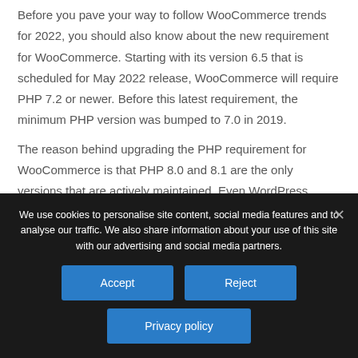Before you pave your way to follow WooCommerce trends for 2022, you should also know about the new requirement for WooCommerce. Starting with its version 6.5 that is scheduled for May 2022 release, WooCommerce will require PHP 7.2 or newer. Before this latest requirement, the minimum PHP version was bumped to 7.0 in 2019.
The reason behind upgrading the PHP requirement for WooCommerce is that PHP 8.0 and 8.1 are the only versions that are actively maintained. Even WordPress recommends using PHP 7.4 at least for security and performance benefits.
We use cookies to personalise site content, social media features and to analyse our traffic. We also share information about your use of this site with our advertising and social media partners.
Accept
Reject
Privacy policy